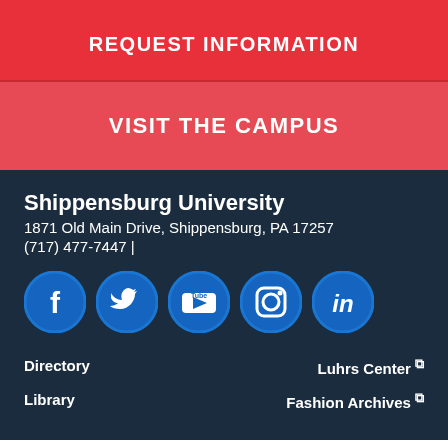REQUEST INFORMATION
VISIT THE CAMPUS
Shippensburg University
1871 Old Main Drive, Shippensburg, PA 17257
(717) 477-7447 |
[Figure (infographic): Row of five social media icon buttons: Facebook, Twitter, YouTube, Instagram, LinkedIn — each a blue circle with white icon]
Directory
Luhrs Center ⧉
Library
Fashion Archives ⧉